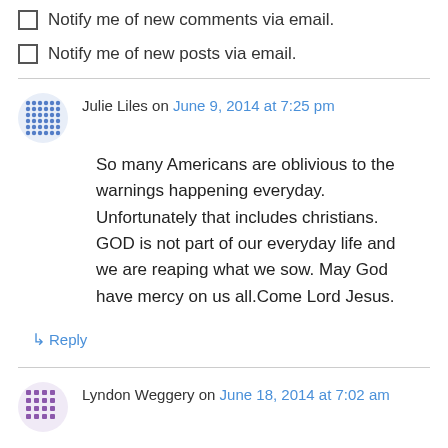Notify me of new comments via email.
Notify me of new posts via email.
Julie Liles on June 9, 2014 at 7:25 pm
So many Americans are oblivious to the warnings happening everyday. Unfortunately that includes christians. GOD is not part of our everyday life and we are reaping what we sow. May God have mercy on us all.Come Lord Jesus.
↳ Reply
Lyndon Weggery on June 18, 2014 at 7:02 am